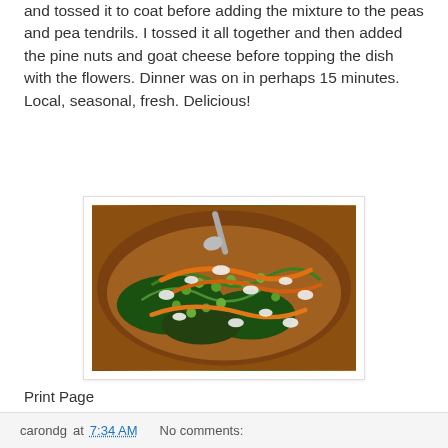and tossed it to coat before adding the mixture to the peas and pea tendrils. I tossed it all together and then added the pine nuts and goat cheese before topping the dish with the flowers. Dinner was on in perhaps 15 minutes. Local, seasonal, fresh. Delicious!
[Figure (photo): A wooden bowl filled with a salad of green peas, pea tendrils, spinach, orange carrot ribbons, crumbled white goat cheese, and pine nuts. A metal spoon is visible at the top.]
Print Page
carondg at 7:34 AM    No comments: